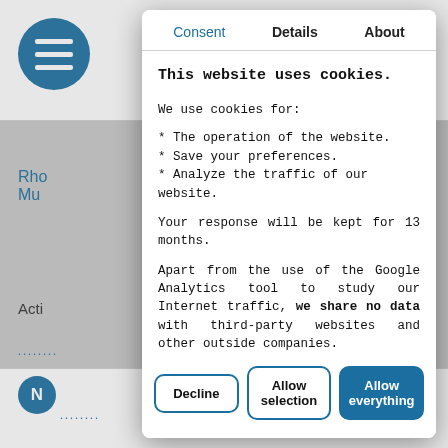[Figure (screenshot): Cookie consent modal dialog overlaid on a website. The modal has three tabs: Consent (blue), Details (bold), About (bold). The consent tab is active showing cookie usage information and three buttons: Decline, Allow selection, Allow everything.]
This website uses cookies.
We use cookies for:
* The operation of the website.
* Save your preferences.
* Analyze the traffic of our website.

Your response will be kept for 13 months.

Apart from the use of the Google Analytics tool to study our Internet traffic, we share no data with third-party websites and other outside companies.